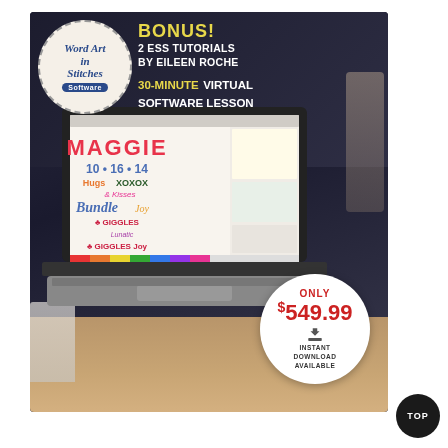[Figure (illustration): Advertisement for 'Word Art in Stitches Software' showing a laptop with embroidery design software on screen. Includes a circular badge with product name, bonus text about ESS tutorials and virtual lesson, price of $549.99, and instant download badge. Dark background with desk scene.]
Word Art in Stitches Software
BONUS! 2 ESS TUTORIALS BY EILEEN ROCHE 30-MINUTE VIRTUAL SOFTWARE LESSON
ONLY $549.99 INSTANT DOWNLOAD AVAILABLE
TOP